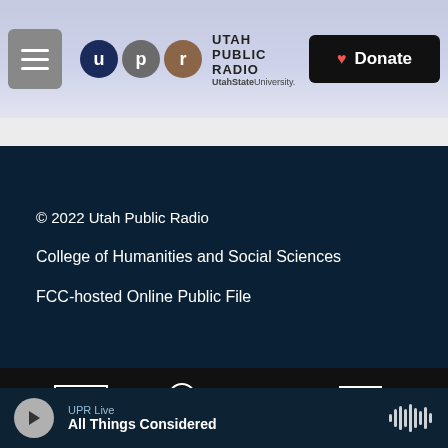[Figure (screenshot): Utah Public Radio website header with logo (U, P, R circles), 'UTAH PUBLIC RADIO / UtahState University.' text, hamburger menu button, and black Donate button with heart icon]
© 2022 Utah Public Radio
College of Humanities and Social Sciences
FCC-hosted Online Public File
[Figure (logo): NPR logo (n p r in a box), American Public Media logo (circle with dot and text), BBC logo with purple dot]
UPR Live
All Things Considered